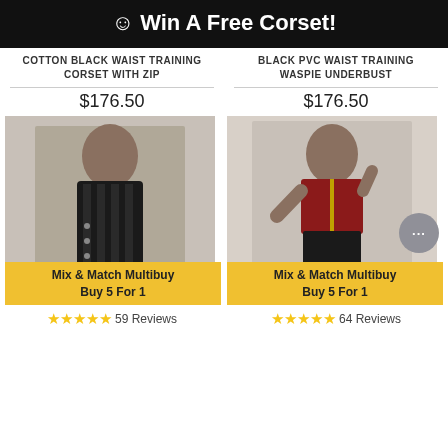☺ Win A Free Corset!
COTTON BLACK WAIST TRAINING CORSET WITH ZIP
BLACK PVC WAIST TRAINING WASPIE UNDERBUST
$176.50
$176.50
[Figure (photo): Model wearing black mesh/lace waist training corset, arms raised, smiling]
Mix & Match Multibuy
Buy 5 For 1
[Figure (photo): Model wearing red and black lace overbust corset with zip and black leather pants]
Mix & Match Multibuy
Buy 5 For 1
59 Reviews
64 Reviews